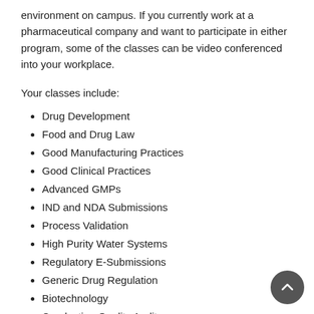environment on campus. If you currently work at a pharmaceutical company and want to participate in either program, some of the classes can be video conferenced into your workplace.
Your classes include:
Drug Development
Food and Drug Law
Good Manufacturing Practices
Good Clinical Practices
Advanced GMPs
IND and NDA Submissions
Process Validation
High Purity Water Systems
Regulatory E-Submissions
Generic Drug Regulation
Biotechnology
Conducting Quality Audits
The bottom line on regulatory affairs is that there will always be good job demand for the higher educated regulatory professionals, especially today as more medical products are